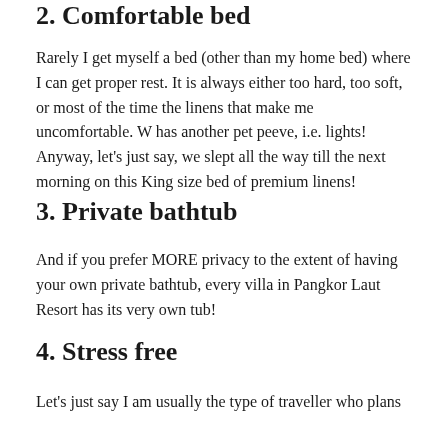2. Comfortable bed
Rarely I get myself a bed (other than my home bed) where I can get proper rest. It is always either too hard, too soft, or most of the time the linens that make me uncomfortable. W has another pet peeve, i.e. lights! Anyway, let's just say, we slept all the way till the next morning on this King size bed of premium linens!
3. Private bathtub
And if you prefer MORE privacy to the extent of having your own private bathtub, every villa in Pangkor Laut Resort has its very own tub!
4. Stress free
Let's just say I am usually the type of traveller who plans